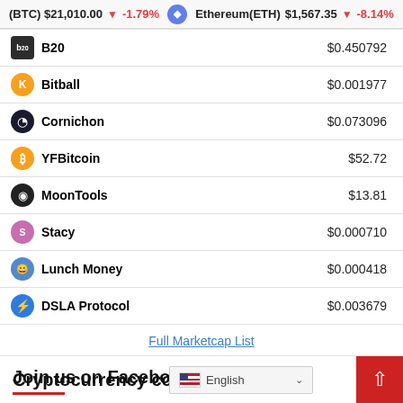(BTC) $21,010.00 ↓ -1.79%   Ethereum(ETH) $1,567.35 ↓ -8.14%
| Coin | Price |
| --- | --- |
| B20 | $0.450792 |
| Bitball | $0.001977 |
| Cornichon | $0.073096 |
| YFBitcoin | $52.72 |
| MoonTools | $13.81 |
| Stacy | $0.000710 |
| Lunch Money | $0.000418 |
| DSLA Protocol | $0.003679 |
Full Marketcap List
Join us on Facebook
Cryptocurrency converte
English